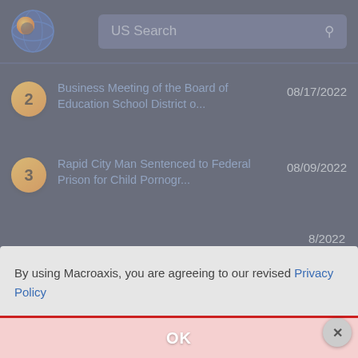[Figure (screenshot): Macroaxis website header with logo (globe/satellite icon) and US Search search bar on dark navy background]
2 Business Meeting of the Board of Education School District o... 08/17/2022
3 Rapid City Man Sentenced to Federal Prison for Child Pornogr... 08/09/2022
8/2022 (partial, item 4)
By using Macroaxis, you are agreeing to our revised Privacy Policy
OK
5/2022 (partial)
0/2022 (partial)